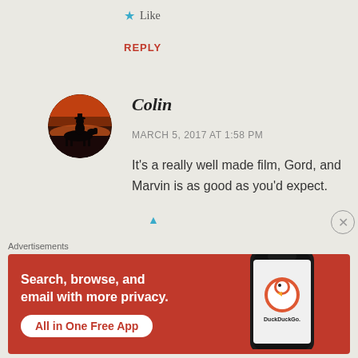★ Like
REPLY
[Figure (photo): Circular avatar showing a silhouette of a person on horseback against a dramatic reddish sunset sky]
Colin
MARCH 5, 2017 AT 1:58 PM
It's a really well made film, Gord, and Marvin is as good as you'd expect.
Advertisements
[Figure (screenshot): DuckDuckGo advertisement banner. Orange/red background. Text: Search, browse, and email with more privacy. All in One Free App. Shows a smartphone with DuckDuckGo logo and brand name.]